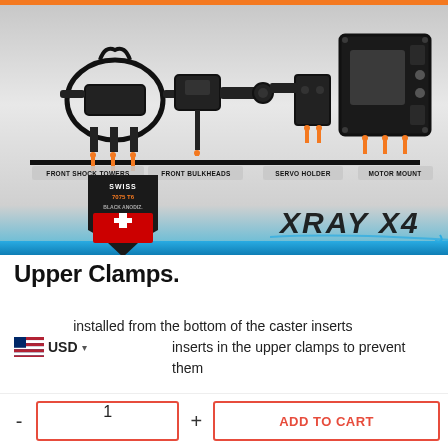[Figure (engineering-diagram): XRAY X4 RC car components diagram showing Front Shock Towers, Front Bulkheads, Servo Holder, and Motor Mount with orange pin indicators. Swiss 7075 T6 Black anodized badge visible. XRAY X4 logo at bottom right.]
Upper Clamps.
installed from the bottom of the caster inserts inserts in the upper clamps to prevent them
USD
- 1 + ADD TO CART